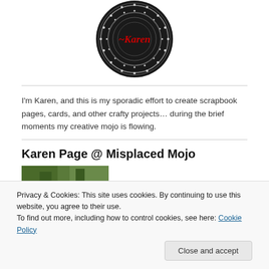[Figure (logo): Circular black and white mandala-style logo with 'Karen' written in red text in the center]
I'm Karen, and this is my sporadic effort to create scrapbook pages, cards, and other crafty projects… during the brief moments my creative mojo is flowing.
Karen Page @ Misplaced Mojo
[Figure (photo): Partial outdoor photo with green foliage/trees]
Privacy & Cookies: This site uses cookies. By continuing to use this website, you agree to their use.
To find out more, including how to control cookies, see here: Cookie Policy
Close and accept